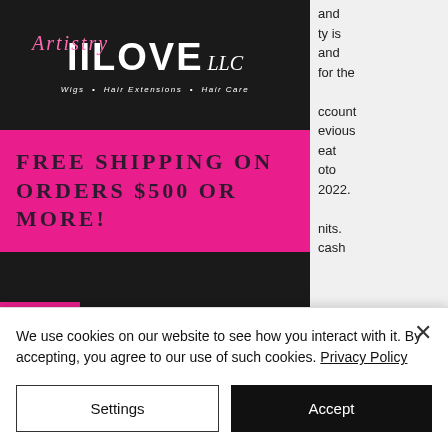[Figure (screenshot): IILove Artistry LLC website screenshot showing logo on dark background, pink free shipping banner, and dark navigation section with pink star icon and hamburger menu]
and ty is and for the ccount evious eat oto 2022. nits. cash casino no deposit bonus codes 2022.
Casino betting sites in
We use cookies on our website to see how you interact with it. By accepting, you agree to our use of such cookies. Privacy Policy
Settings
Accept